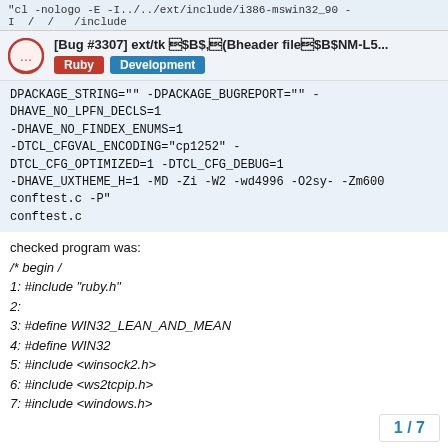"cl -nologo -E -I../../ext/include/i386-mswin32_90 -I / / /include
[Bug #3307] ext/tk B$,(Bheader fileB$NM-L5...
Ruby   Development
DPACKAGE_STRING="" -DPACKAGE_BUGREPORT="" -DHAVE_NO_LPFN_DECLS=1 -DHAVE_NO_FINDEX_ENUMS=1 -DTCL_CFGVAL_ENCODING="cp1252" -DTCL_CFG_OPTIMIZED=1 -DTCL_CFG_DEBUG=1 -DHAVE_UXTHEME_H=1 -MD -Zi -W2 -wd4996 -O2sy- -Zm600 conftest.c -P"
conftest.c
checked program was:
/* begin /
1: #include "ruby.h"
2:
3: #define WIN32_LEAN_AND_MEAN
4: #define WIN32
5: #include <winsock2.h>
6: #include <ws2tcpip.h>
7: #include <windows.h>
1 / 7